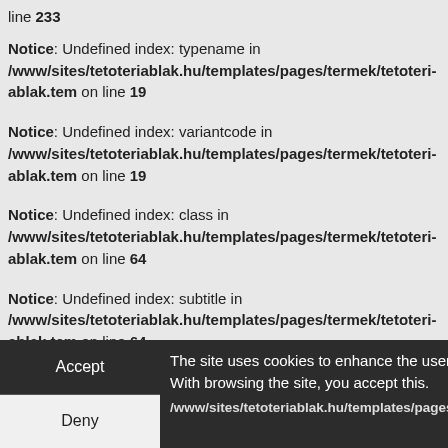line 233
Notice: Undefined index: typename in /www/sites/tetoteriablak.hu/templates/pages/termek/tetoteri-ablak.tem on line 19
Notice: Undefined index: variantcode in /www/sites/tetoteriablak.hu/templates/pages/termek/tetoteri-ablak.tem on line 19
Notice: Undefined index: class in /www/sites/tetoteriablak.hu/templates/pages/termek/tetoteri-ablak.tem on line 64
Notice: Undefined index: subtitle in /www/sites/tetoteriablak.hu/templates/pages/termek/tetoteri-ablak.tem on line 64
The site uses cookies to enhance the user experience. With browsing the site, you accept this.
Notice: Undefined index: ... /www/sites/tetoteriablak.hu/templates/pages/termek/tetoteri-